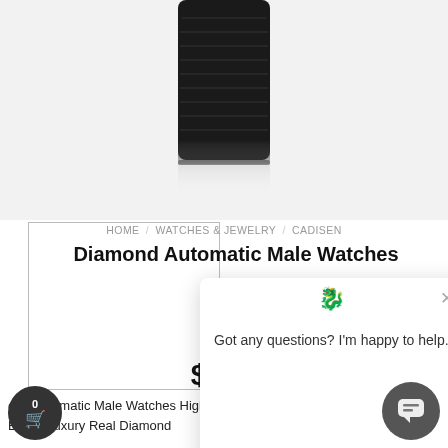[Figure (photo): Partial view of a black crocodile-leather watch strap photographed against a white background, showing the bottom portion with a subtle reflection below.]
[Figure (photo): Empty white thumbnail/gallery image box with gray border in bottom-left area.]
>
HOME / WATCHES & JEWELRY / CADISEN
Diamond Automatic Male Watches
[Figure (screenshot): Chat support popup overlay showing a dragon/fox icon and the message: 'Got any questions? I'm happy to help.' with an X close button in the top right corner.]
$319
ond Automatic Male Watches High-end Mechanical Watch MIYOTA 9015 Top Brand Luxury Real Diamond
[Figure (illustration): Cart button circle with count 0 and red cart icon in bottom left corner.]
[Figure (illustration): Dark gray chat bubble button in bottom right corner.]